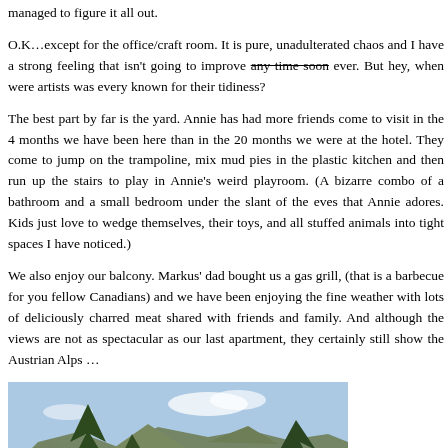we'll look at it questioningly, wondering where to fit it in. But so far we've managed to figure it all out.
O.K…except for the office/craft room. It is pure, unadulterated chaos and I have a strong feeling that isn't going to improve any time soon ever. But hey, when were artists was every known for their tidiness?
The best part by far is the yard. Annie has had more friends come to visit in the 4 months we have been here than in the 20 months we were at the hotel. They come to jump on the trampoline, mix mud pies in the plastic kitchen and then run up the stairs to play in Annie's weird playroom. (A bizarre combo of a bathroom and a small bedroom under the slant of the eves that Annie adores. Kids just love to wedge themselves, their toys, and all stuffed animals into tight spaces I have noticed.)
We also enjoy our balcony. Markus' dad bought us a gas grill, (that is a barbecue for you fellow Canadians) and we have been enjoying the fine weather with lots of deliciously charred meat shared with friends and family. And although the views are not as spectacular as our last apartment, they certainly still show the Austrian Alps …
[Figure (photo): Outdoor photograph showing the Austrian Alps — mountain range in the background under a partly cloudy blue sky, with tall evergreen conifer trees (spruce/fir) in the foreground and middle ground.]